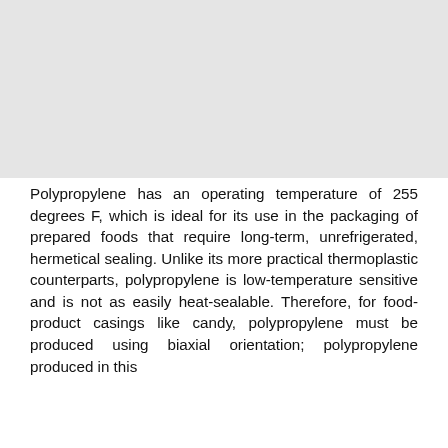[Figure (other): Gray placeholder image occupying the top portion of the page]
Polypropylene has an operating temperature of 255 degrees F, which is ideal for its use in the packaging of prepared foods that require long-term, unrefrigerated, hermetical sealing. Unlike its more practical thermoplastic counterparts, polypropylene is low-temperature sensitive and is not as easily heat-sealable. Therefore, for food-product casings like candy, polypropylene must be produced using biaxial orientation; polypropylene produced in this